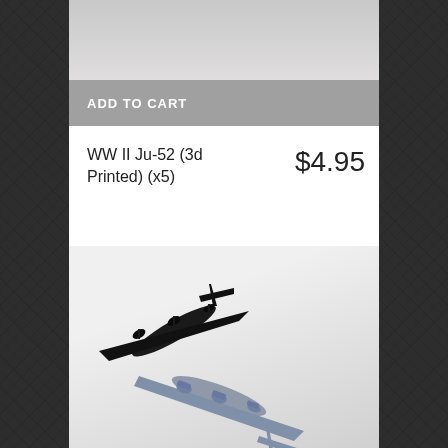[Figure (photo): Top portion of a product listing page showing a light gray/beige background area (partial product image cropped at top)]
ADD TO CART
WW II Ju-52 (3d Printed) (x5)
$4.95
[Figure (photo): Photo of two 3D printed Junkers Ju-52 airplane miniature models on a white/light surface. One model is black (top-left) and one is light gray/blue (bottom-right), both showing top-down view of the trimotor aircraft.]